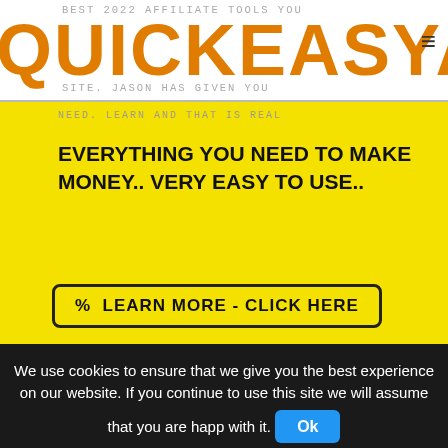QUICKEASYA
EVERYTHING YOU NEED TO MAKE MONEY.. VERY EASY TO USE..
% LEARN MORE - CLICK HERE
Business Opportunities
FAST MONEY MAKERS
Greatest Opportunities online to make real money. www.youtubemoney.org
% LEARN MORE - CLICK HERE
We use cookies to ensure that we give you the best experience on our website. If you continue to use this site we will assume that you are happy with it.